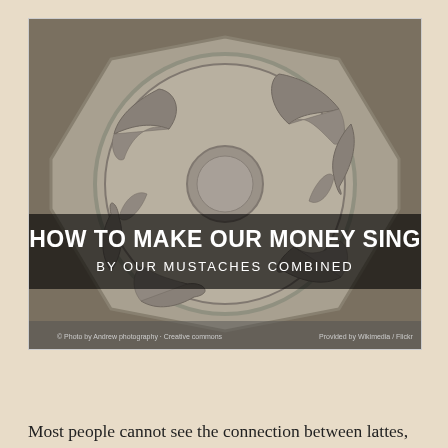[Figure (photo): Close-up photo of a silver coin depicting multiple dolphins arranged in a circular pattern. Overlaid text on the coin image reads 'HOW TO MAKE OUR MONEY SING' in large bold white uppercase letters and 'BY OUR MUSTACHES COMBINED' in smaller white uppercase letters. The image has a navigation bar below with share icon, left arrow, '1 of 26', right arrow, and fullscreen icon.]
Most people cannot see the connection between lattes, sandals, V-8 engines, and a million dollars. But it's really